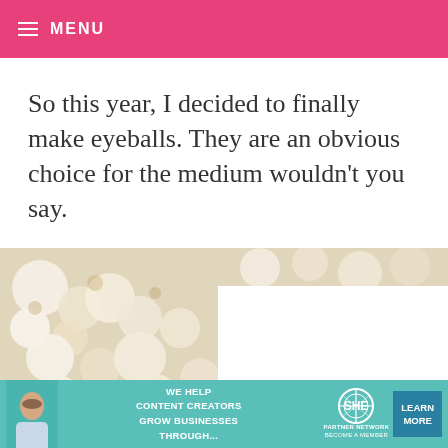MENU
So this year, I decided to finally make eyeballs. They are an obvious choice for the medium wouldn't you say.
[Figure (photo): Close-up photo of white fluffy balls (popcorn or cotton-like material) with a blurred golden-brown background, partially overlaid with a white rectangle.]
[Figure (infographic): Advertisement banner: 'WE HELP CONTENT CREATORS GROW BUSINESSES THROUGH...' with SHE PARTNER NETWORK logo and LEARN MORE button.]